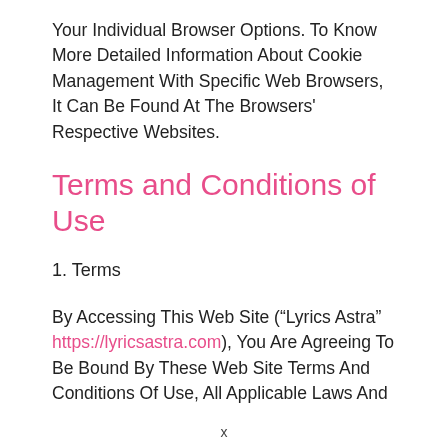Your Individual Browser Options. To Know More Detailed Information About Cookie Management With Specific Web Browsers, It Can Be Found At The Browsers' Respective Websites.
Terms and Conditions of Use
1. Terms
By Accessing This Web Site (“Lyrics Astra” https://lyricsastra.com), You Are Agreeing To Be Bound By These Web Site Terms And Conditions Of Use, All Applicable Laws And
x